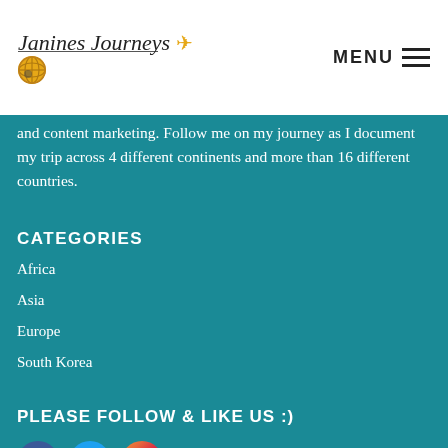Janines Journeys | MENU
and content marketing. Follow me on my journey as I document my trip across 4 different continents and more than 16 different countries.
CATEGORIES
Africa
Asia
Europe
South Korea
PLEASE FOLLOW & LIKE US :)
[Figure (logo): Social media icons: Facebook, Twitter, Instagram]